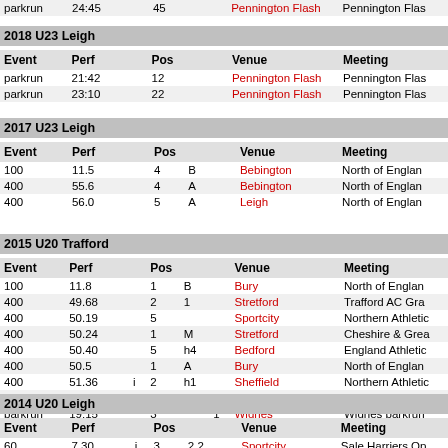| Event | Perf |  | Pos |  |  | Venue | Meeting |
| --- | --- | --- | --- | --- | --- | --- | --- |
| parkrun | 24:45 |  | 45 |  |  | Pennington Flash | Pennington Flas |
2018 U23 Leigh
| Event | Perf |  | Pos |  |  | Venue | Meeting |
| --- | --- | --- | --- | --- | --- | --- | --- |
| parkrun | 21:42 |  | 12 |  |  | Pennington Flash | Pennington Flas |
| parkrun | 23:10 |  | 22 |  |  | Pennington Flash | Pennington Flas |
2017 U23 Leigh
| Event | Perf |  | Pos |  |  | Venue | Meeting |
| --- | --- | --- | --- | --- | --- | --- | --- |
| 100 | 11.5 |  | 4 | B |  | Bebington | North of Englan |
| 400 | 55.6 |  | 4 | A |  | Bebington | North of Englan |
| 400 | 56.0 |  | 5 | A |  | Leigh | North of Englan |
2015 U20 Trafford
| Event | Perf |  | Pos |  |  | Venue | Meeting |
| --- | --- | --- | --- | --- | --- | --- | --- |
| 100 | 11.8 |  | 1 | B |  | Bury | North of Englan |
| 400 | 49.68 |  | 2 | 1 |  | Stretford | Trafford AC Gra |
| 400 | 50.19 |  | 5 |  |  | Sportcity | Northern Athlet |
| 400 | 50.24 |  | 1 | M |  | Stretford | Cheshire & Grea |
| 400 | 50.40 |  | 5 | h4 |  | Bedford | England Athlet |
| 400 | 50.5 |  | 1 | A |  | Bury | North of Englan |
| 400 | 51.36 | i | 2 | h1 |  | Sheffield | Northern Athlet |
| 800 | 2:18.35 |  | 8 | B |  | Derby | British Athletics |
| parkrun | 19:15 |  | 3 |  | 1 | Widnes | Widnes parkrun |
| parkrun | 19:48 |  | 3 |  | 1 | Pennington Flash | Pennington Flas |
2014 U20 Leigh
| Event | Perf |  | Pos |  |  | Venue | Meeting |
| --- | --- | --- | --- | --- | --- | --- | --- |
| 60 | 7.30 | i | 3 | 2.2 |  | Sportcity | Sale Harriers Op |